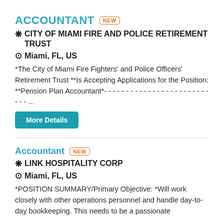ACCOUNTANT NEW
❋ CITY OF MIAMI FIRE AND POLICE RETIREMENT TRUST
⊙ Miami, FL, US
*The City of Miami Fire Fighters' and Police Officers' Retirement Trust **Is Accepting Applications for the Position: **Pension Plan Accountant*- - - - - - - - - - - - - - - - - - - - - - - - - - - ...
More Details
Accountant NEW
❋ LINK HOSPITALITY CORP
⊙ Miami, FL, US
*POSITION SUMMARY/Primary Objective: *Will work closely with other operations personnel and handle day-to-day bookkeeping. This needs to be a passionate